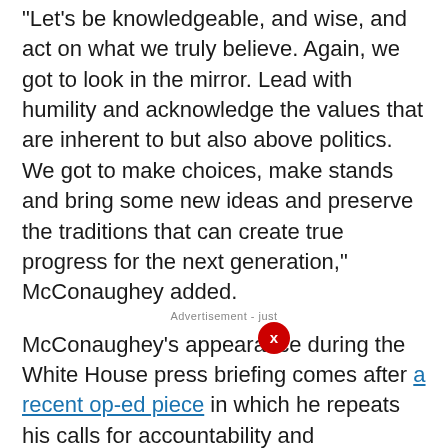"Let's be knowledgeable, and wise, and act on what we truly believe. Again, we got to look in the mirror. Lead with humility and acknowledge the values that are inherent to but also above politics. We got to make choices, make stands and bring some new ideas and preserve the traditions that can create true progress for the next generation," McConaughey added.
McConaughey's appearance during the White House press briefing comes after a recent op-ed piece in which he repeats his calls for accountability and "responsible gun ownership."
The 52-year-old actor explained the difference between his idea of "gun responsibility" and "gun control."
"There is a difference between control and responsibility," McConaughey wrote in a recent op-ed. "The first is a